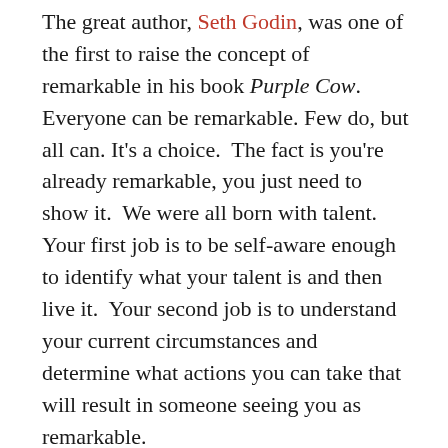The great author, Seth Godin, was one of the first to raise the concept of remarkable in his book Purple Cow.  Everyone can be remarkable. Few do, but all can. It's a choice.  The fact is you're already remarkable, you just need to show it.  We were all born with talent.  Your first job is to be self-aware enough to identify what your talent is and then live it.  Your second job is to understand your current circumstances and determine what actions you can take that will result in someone seeing you as remarkable.
Maybe you don't want to be cold calling all day but that's your current circumstance.  Your choice to gear up, toughen up and lighten up will come through your interactions as remarkable instead of choosing to be